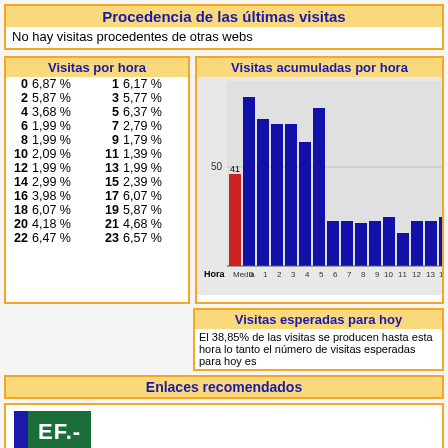Procedencia de las últimas visitas
No hay visitas procedentes de otras webs
Visitas por hora
| Hora | Pct | Hora | Pct |
| --- | --- | --- | --- |
| 0 | 6,87 % | 1 | 6,17 % |
| 2 | 5,87 % | 3 | 5,77 % |
| 4 | 3,68 % | 5 | 6,37 % |
| 6 | 1,99 % | 7 | 2,79 % |
| 8 | 1,99 % | 9 | 1,79 % |
| 10 | 2,09 % | 11 | 1,39 % |
| 12 | 1,99 % | 13 | 1,99 % |
| 14 | 2,99 % | 15 | 2,39 % |
| 16 | 3,98 % | 17 | 6,07 % |
| 18 | 6,07 % | 19 | 5,87 % |
| 20 | 4,18 % | 21 | 4,68 % |
| 22 | 6,47 % | 23 | 6,57 % |
[Figure (bar-chart): Visitas acumuladas por hora]
Visitas esperadas para hoy
El 38,85% de las visitas se producen hasta esta hora lo tanto el número de visitas esperadas para hoy es
Enlaces recomendados
[Figure (logo): CEF.- logo with text Masters Cursos Oposiciones]